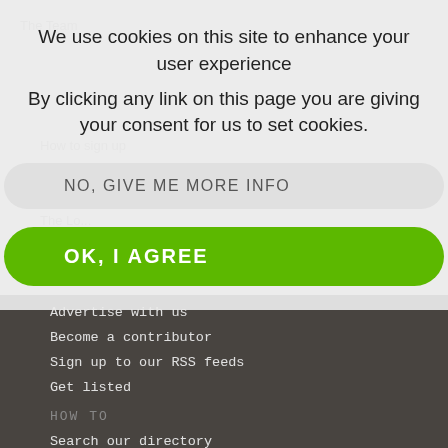We use cookies on this site to enhance your user experience
By clicking any link on this page you are giving your consent for us to set cookies.
NO, GIVE ME MORE INFO
OK, I AGREE
Advertise with us
Become a contributor
Sign up to our RSS feeds
Get listed
HOW TO
Search our directory
Visit our forum